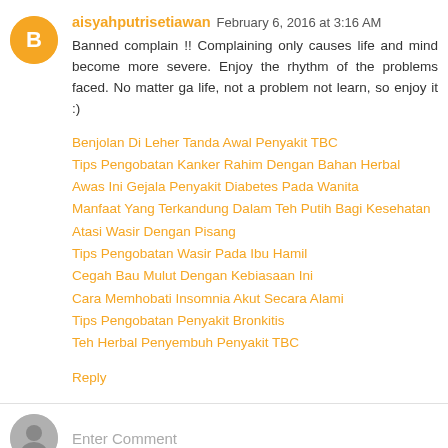aisyahputrisetiawan  February 6, 2016 at 3:16 AM
Banned complain !! Complaining only causes life and mind become more severe. Enjoy the rhythm of the problems faced. No matter ga life, not a problem not learn, so enjoy it :)
Benjolan Di Leher Tanda Awal Penyakit TBC
Tips Pengobatan Kanker Rahim Dengan Bahan Herbal
Awas Ini Gejala Penyakit Diabetes Pada Wanita
Manfaat Yang Terkandung Dalam Teh Putih Bagi Kesehatan
Atasi Wasir Dengan Pisang
Tips Pengobatan Wasir Pada Ibu Hamil
Cegah Bau Mulut Dengan Kebiasaan Ini
Cara Memhobati Insomnia Akut Secara Alami
Tips Pengobatan Penyakit Bronkitis
Teh Herbal Penyembuh Penyakit TBC
Reply
Enter Comment